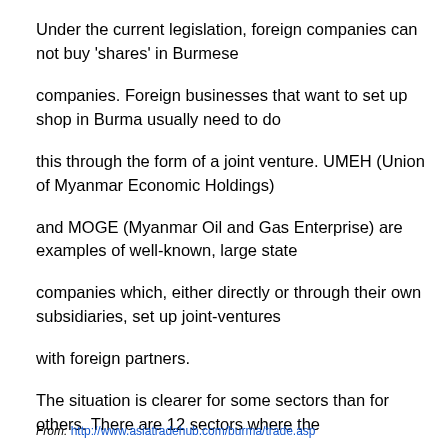Under the current legislation, foreign companies can not buy 'shares' in Burmese companies. Foreign businesses that want to set up shop in Burma usually need to do this through the form of a joint venture. UMEH (Union of Myanmar Economic Holdings) and MOGE (Myanmar Oil and Gas Enterprise) are examples of well-known, large state companies which, either directly or through their own subsidiaries, set up joint-ventures with foreign partners. The situation is clearer for some sectors than for others. There are 12 sectors where the state has – by law – a monopoly.
From: http://www.asiatradehub.com/burma/trade.asp